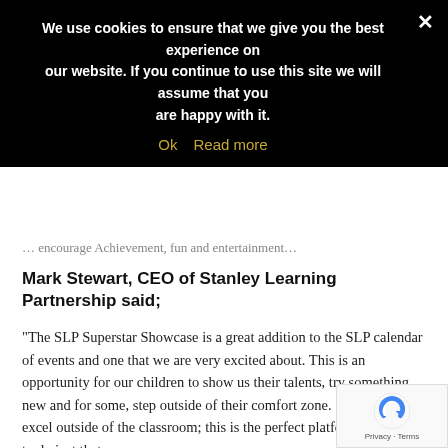We use cookies to ensure that we give you the best experience on our website. If you continue to use this site we will assume that you are happy with it.
Ok   Read more
[truncated line partially visible]
Mark Stewart, CEO of Stanley Learning Partnership said;
"The SLP Superstar Showcase is a great addition to the SLP calendar of events and one that we are very excited about. This is an opportunity for our children to show us their talents, try something new and for some, step outside of their comfort zone. Some children excel outside of the classroom; this is the perfect platform for them to do just that.
As a fully inclusive partnership it was important to inv... many children as possible. We fully appreciate what a...